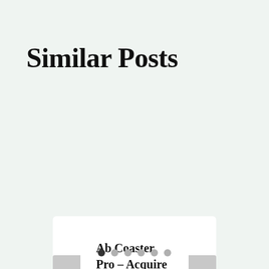Similar Posts
Ab Coaster Pro – Acquire Ab Coaster – Could be the Ab coaster Worth The Price!